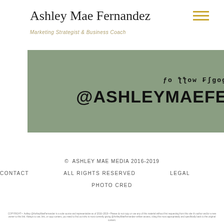Ashley Mae Fernandez
Marketing Strategist & Business Coach
[Figure (other): Hamburger menu icon with three gold horizontal lines]
[Figure (infographic): Sage green banner box with decorative follow text and handle @ASHLEYMAEFERNANDEZ, with right arrow beside it]
© ASHLEY MAE MEDIA 2016-2019
CONTACT    ALL RIGHTS RESERVED    LEGAL
PHOTO CRED
COPYRIGHT • Ashley @AshleyMaeFernandez is a sole source and representative as of 2016-2019 • Please do not copy or use any of this material without first requesting from this site it's author and/or a new owner to this link. Always to use, link, or copy content, you need to find out who is most currently giving @AshleyMaeFernandez written access, citing this most appropriately and specifically back to the original content.